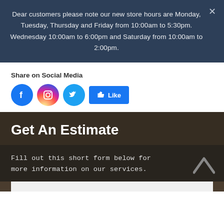Dear customers please note our new store hours are Monday, Tuesday, Thursday and Friday from 10:00am to 5:30pm. Wednesday 10:00am to 6:00pm and Saturday from 10:00am to 2:00pm.
Share on Social Media
[Figure (infographic): Row of social media icons: Facebook (blue circle with f), Instagram (gradient circle with camera), Twitter (blue circle with bird), and a Facebook Like button (blue rectangle with thumbs up and Like text)]
Get An Estimate
Fill out this short form below for more information on our services.